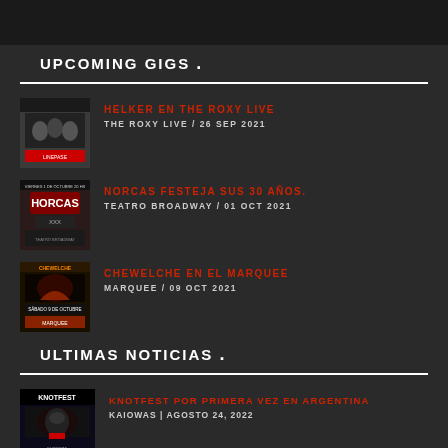UPCOMING GIGS .
HELKER EN THE ROXY LIVE | THE ROXY LIVE / 26 SEP 2021
NORCAS FESTEJA SUS 30 AÑOS. | TEATRO BROADWAY / 01 OCT 2021
CHEWELCHE EN EL MARQUEE | MARQUEE / 09 OCT 2021
ULTIMAS NOTICIAS .
KNOTFEST POR PRIMERA VEZ EN ARGENTINA | KAIOWAS | AGOSTO 24, 2022
(partial, cut off at bottom)